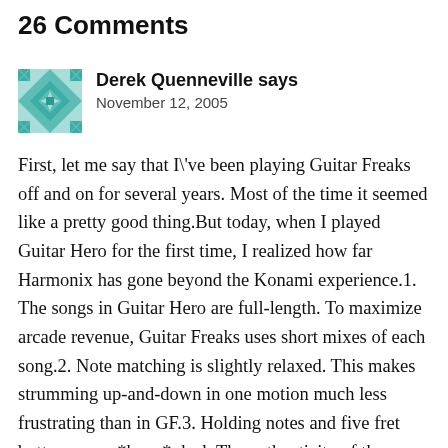26 Comments
[Figure (illustration): Teal/green geometric quilted avatar icon with star/flower pattern]
Derek Quenneville says
November 12, 2005
First, let me say that I\'ve been playing Guitar Freaks off and on for several years. Most of the time it seemed like a pretty good thing.But today, when I played Guitar Hero for the first time, I realized how far Harmonix has gone beyond the Konami experience.1. The songs in Guitar Hero are full-length. To maximize arcade revenue, Guitar Freaks uses short mixes of each song.2. Note matching is slightly relaxed. This makes strumming up-and-down in one motion much less frustrating than in GF.3. Holding notes and five fret buttons are a *huge* deal. The authenticity of the Guitar Hero experience goes up several notches when graduating to Normal and Hard modes.As you